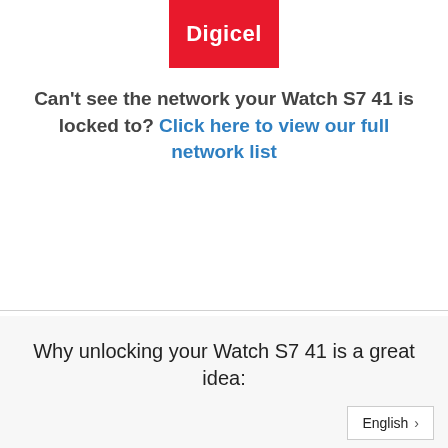[Figure (logo): Digicel logo — white text on red background]
Can't see the network your Watch S7 41 is locked to? Click here to view our full network list
Why unlocking your Watch S7 41 is a great idea: